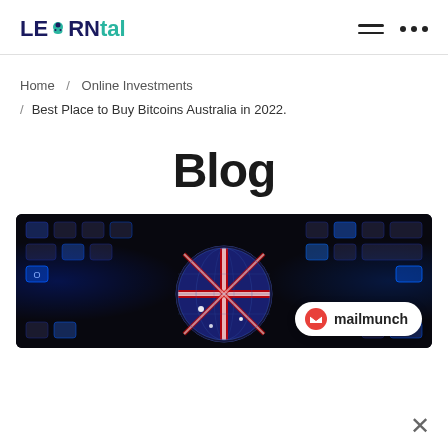LEARNtal [logo] hamburger menu dots
Home / Online Investments / Best Place to Buy Bitcoins Australia in 2022.
Blog
[Figure (photo): A glowing globe with Australian flag pattern on a dark keyboard background, with a Mailmunch badge overlay in the bottom right corner.]